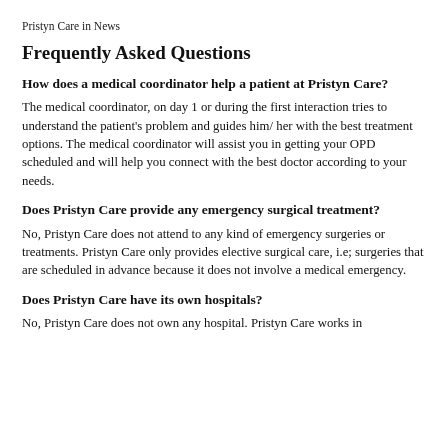Pristyn Care in News
Frequently Asked Questions
How does a medical coordinator help a patient at Pristyn Care?
The medical coordinator, on day 1 or during the first interaction tries to understand the patient's problem and guides him/ her with the best treatment options. The medical coordinator will assist you in getting your OPD scheduled and will help you connect with the best doctor according to your needs.
Does Pristyn Care provide any emergency surgical treatment?
No, Pristyn Care does not attend to any kind of emergency surgeries or treatments. Pristyn Care only provides elective surgical care, i.e; surgeries that are scheduled in advance because it does not involve a medical emergency.
Does Pristyn Care have its own hospitals?
No, Pristyn Care does not own any hospital. Pristyn Care works in